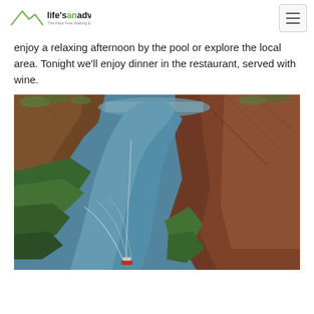life'sanadventure – The Pack Free Walking Experience
enjoy a relaxing afternoon by the pool or explore the local area. Tonight we'll enjoy dinner in the restaurant, served with wine.
[Figure (photo): Aerial view of a boat travelling along a winding river gorge with red rock canyon walls and lush green vegetation on either side, seen from above.]